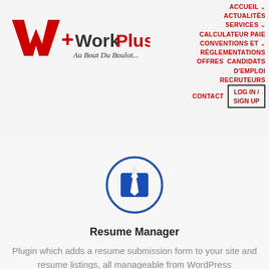[Figure (logo): Work Plus logo with red W icon and text 'Work Plus Au Bout Du Boulot...']
ACCUEIL ∨  ACTUALITÉS  SERVICES ∨  CALCULATEUR PAIE  CONVENTIONS ET ∨ RÉGLEMENTATIONS  OFFRES D'EMPLOI  CANDIDATS  RECRUTEURS  CONTACT  LOG IN / SIGN UP
[Figure (illustration): Blue tie icon inside a blue circle, on a light gray background]
Resume Manager
Plugin which adds a resume submission form to your site and resume listings, all manageable from WordPress